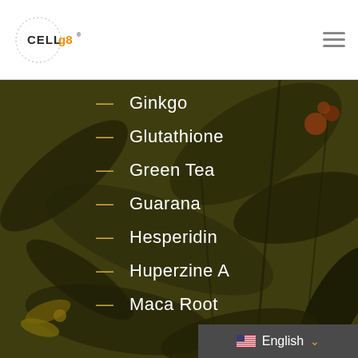CELLg8
[Figure (illustration): Dark botanical background with leaves and flowers, olive/dark green and gold tones]
Ginkgo
Glutathione
Green Tea
Guarana
Hesperidin
Huperzine A
Maca Root
English